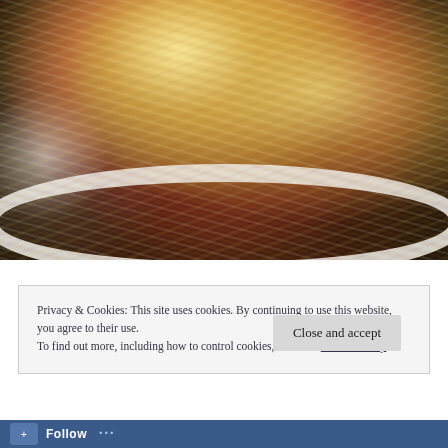[Figure (photo): Close-up photograph of a casserole dish containing layered food — visible shredded cheese (yellow and white) on top, with tomatoes and black beans underneath, in a white round baking dish on a dark surface.]
Privacy & Cookies: This site uses cookies. By continuing to use this website, you agree to their use.
To find out more, including how to control cookies, see here: Cookie Policy
Follow ...